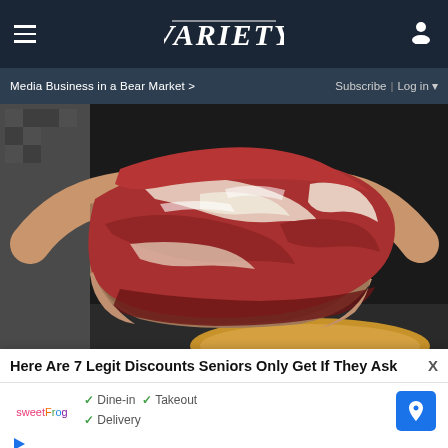VARIETY — Media Business in a Bear Market > | Subscribe | Log in
[Figure (photo): Person holding a large raw cut of marbled beef/pork meat wrapped in brown butcher paper, on a wooden cutting board]
Here Are 7 Legit Discounts Seniors Only Get If They Ask
[Figure (infographic): Sweet Frog advertisement showing logo, checkmarks for Dine-in, Takeout, Delivery options, and a map/directions icon]